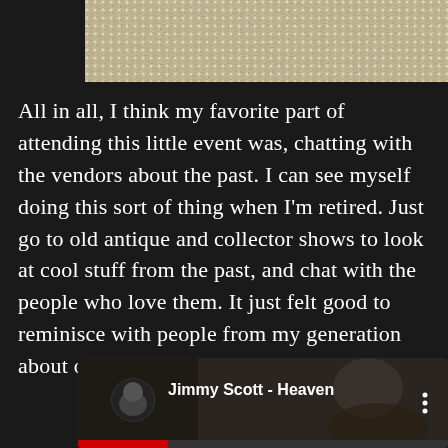[Figure (photo): Top portion of a textured cream/beige carpet or fabric surface, cropped at the top of the page]
All in all, I think my favorite part of attending this little event was, chatting with the vendors about the past. I can see myself doing this sort of thing when I'm retired. Just go to old antique and collector shows to look at cool stuff from the past, and chat with the people who love them. It just felt good to reminisce with people from my generation about our memories from a forgotten time.
[Figure (screenshot): YouTube video embed showing 'Jimmy Scott - Heaven' with a black and white thumbnail of a person singing, a circular profile picture on the left, the video title text, and a three-dot menu icon on the right. A red progress bar is visible at the bottom.]